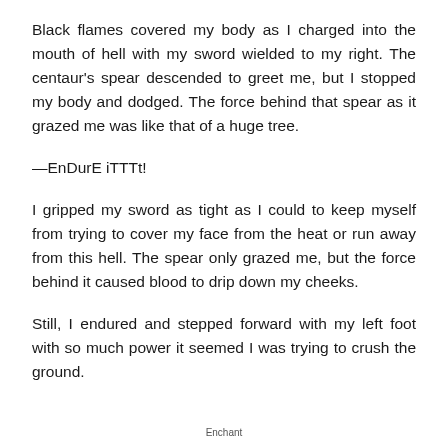Black flames covered my body as I charged into the mouth of hell with my sword wielded to my right. The centaur's spear descended to greet me, but I stopped my body and dodged. The force behind that spear as it grazed me was like that of a huge tree.
—EnDurE iTTTt!
I gripped my sword as tight as I could to keep myself from trying to cover my face from the heat or run away from this hell. The spear only grazed me, but the force behind it caused blood to drip down my cheeks.
Still, I endured and stepped forward with my left foot with so much power it seemed I was trying to crush the ground.
Enchant